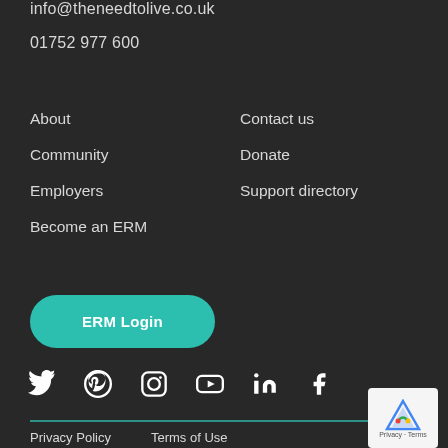info@theneedtolive.co.uk
01752 977 600
About
Community
Employers
Become an ERM
Contact us
Donate
Support directory
[Figure (other): ERM Login button (teal/rounded)]
[Figure (other): Social media icons row: Twitter, Pinterest, Instagram, YouTube, LinkedIn, Facebook]
[Figure (other): reCAPTCHA badge]
Privacy Policy   Terms of Use